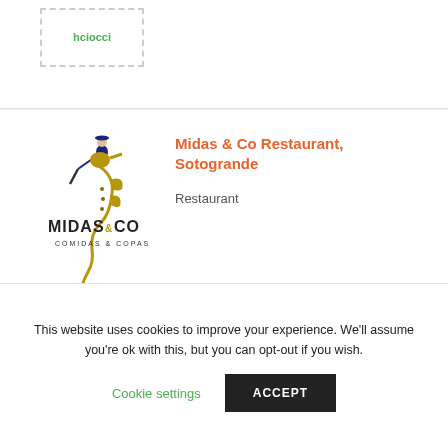[Figure (logo): Partial logo with green text, dashed border, top of page]
[Figure (logo): Midas & Co seahorse and text logo with polo player illustration, MIDAS&CO COMIDAS & COPAS text]
Midas & Co Restaurant, Sotogrande
Restaurant
GIBRALTAR LISTINGS
[Figure (logo): Dark blue rectangular logo for N&D Automotive Gibraltar]
N&D Automotive Gibraltar
This website uses cookies to improve your experience. We'll assume you're ok with this, but you can opt-out if you wish.
Cookie settings
ACCEPT